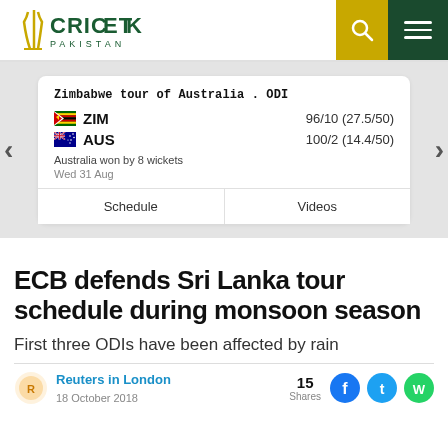[Figure (logo): Cricket Pakistan logo with stylized golden cricket stumps and green CRICKET PAKISTAN text]
[Figure (infographic): Score card: Zimbabwe tour of Australia ODI. ZIM 96/10 (27.5/50), AUS 100/2 (14.4/50). Australia won by 8 wickets. Wed 31 Aug. Schedule and Videos buttons.]
ECB defends Sri Lanka tour schedule during monsoon season
First three ODIs have been affected by rain
Reuters in London
18 October 2018
15 Shares